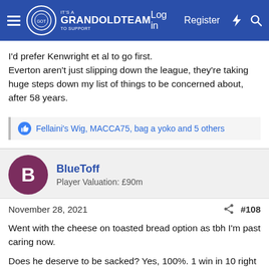GrandOldTeam – Log in | Register
I'd prefer Kenwright et al to go first.
Everton aren't just slipping down the league, they're taking huge steps down my list of things to be concerned about, after 58 years.
Fellaini's Wig, MACCA75, bag a yoko and 5 others
BlueToff
Player Valuation: £90m
November 28, 2021
#108
Went with the cheese on toasted bread option as tbh I'm past caring now.

Does he deserve to be sacked? Yes, 100%. 1 win in 10 right now means he should go, the footy is dross and he hasn't got a clue.

But the issue with the above...